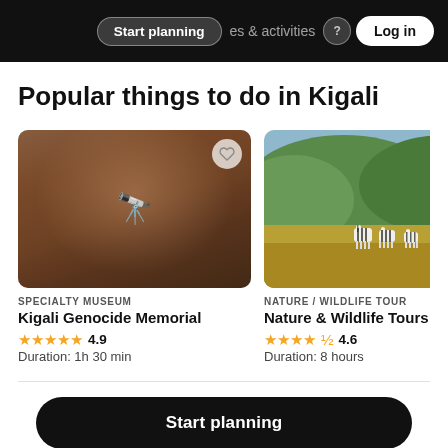Start planning | experiences & activities | Log in
Popular things to do in Kigali
[Figure (screenshot): Card image for Kigali Genocide Memorial — blurred brownish museum interior with binoculars icon overlay and heart button]
SPECIALTY MUSEUM
Kigali Genocide Memorial
★★★★★ 4.9
Duration: 1h 30 min
[Figure (photo): Card image showing zebras in African savanna grassland with green hills in background, heart button and copyright badge]
NATURE / WILDLIFE TOUR
Nature & Wildlife Tours
★★★★½ 4.6
Duration: 8 hours
Start planning